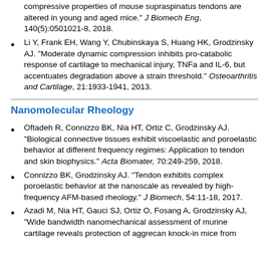compressive properties of mouse supraspinatus tendons are altered in young and aged mice." J Biomech Eng, 140(5):0501021-8, 2018.
Li Y, Frank EH, Wang Y, Chubinskaya S, Huang HK, Grodzinsky AJ. "Moderate dynamic compression inhibits pro-catabolic response of cartilage to mechanical injury, TNFa and IL-6, but accentuates degradation above a strain threshold." Osteoarthritis and Cartilage, 21:1933-1941, 2013.
Nanomolecular Rheology
Oftadeh R, Connizzo BK, Nia HT, Ortiz C, Grodzinsky AJ. "Biological connective tissues exhibit viscoelastic and poroelastic behavior at different frequency regimes: Application to tendon and skin biophysics." Acta Biomater, 70:249-259, 2018.
Connizzo BK, Grodzinsky AJ. "Tendon exhibits complex poroelastic behavior at the nanoscale as revealed by high-frequency AFM-based rheology." J Biomech, 54:11-18, 2017.
Azadi M, Nia HT, Gauci SJ, Ortiz O, Fosang A, Grodzinsky AJ, "Wide bandwidth nanomechanical assessment of murine cartilage reveals protection of aggrecan knock-in mice from